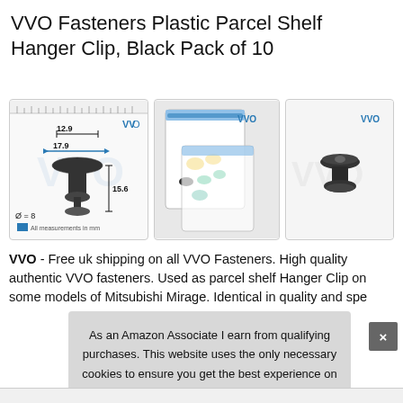VVO Fasteners Plastic Parcel Shelf Hanger Clip, Black Pack of 10
[Figure (photo): Technical diagram of a plastic parcel shelf hanger clip showing dimensions: 12.9mm width, 17.9mm body width, 15.6mm height, diameter 8mm. Blue arrow indicators and ruler at top. Text: All measurements in mm. VVO logo in blue.]
[Figure (photo): Photo of resealable plastic bags containing assorted coloured plastic clips (black, yellow, green, teal). VVO logo visible on bag.]
[Figure (photo): Close-up photo of a single black plastic hanger clip, mushroom-shaped. VVO logo in top right corner.]
VVO - Free uk shipping on all VVO Fasteners. High quality authentic VVO fasteners. Used as parcel shelf Hanger Clip on some models of Mitsubishi Mirage. Identical in quality and spe...
As an Amazon Associate I earn from qualifying purchases. This website uses the only necessary cookies to ensure you get the best experience on our website. More information